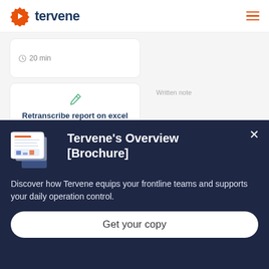[Figure (logo): Tervene logo with orange gear/cogwheel icon and dark blue 'tervene' wordmark, plus hamburger menu icon top right]
[Figure (screenshot): App UI showing two task cards: top card partially visible with '20 min' duration, bottom card with pencil icon labeled 'Retranscribe report on excel' with '15 min' duration. Right side shows 'Written note' (partial) and 'Solving and documenting issues in Excel for analysis purposes' text.]
Tervene's Overview [Brochure]
Discover how Tervene equips your frontline teams and supports your daily operation control.
Get your copy